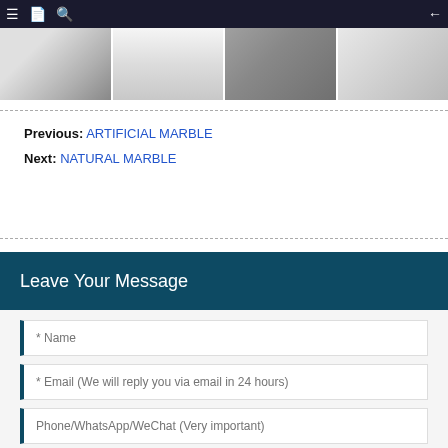Navigation bar with menu, document, search icons and back arrow
[Figure (photo): Horizontal strip of four photos showing marble processing facility and marble slabs in a warehouse]
Previous: ARTIFICIAL MARBLE
Next: NATURAL MARBLE
Leave Your Message
* Name
* Email (We will reply you via email in 24 hours)
Phone/WhatsApp/WeChat (Very important)